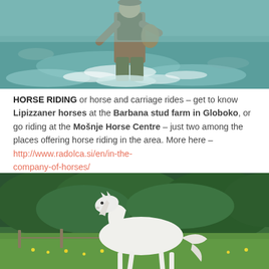[Figure (photo): Person wading through a rushing river, wearing waders and holding fishing gear, water splashing around them]
HORSE RIDING or horse and carriage rides – get to know Lipizzaner horses at the Barbana stud farm in Globoko, or go riding at the Mošnje Horse Centre – just two among the places offering horse riding in the area. More here – http://www.radolca.si/en/in-the-company-of-horses/
[Figure (photo): A white Lipizzaner horse trotting in a green meadow with yellow wildflowers, dense green trees in the background]